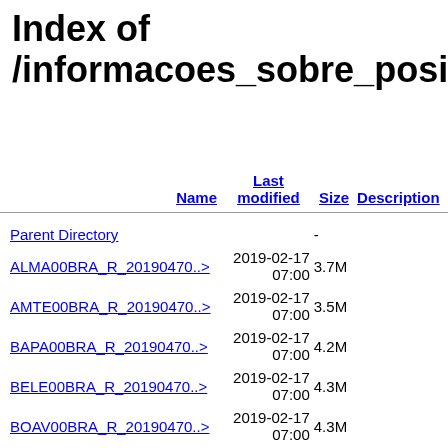Index of /informacoes_sobre_posicioname
| Name | Last modified | Size | Description |
| --- | --- | --- | --- |
| Parent Directory |  | - |  |
| ALMA00BRA_R_20190470..> | 2019-02-17 07:00 | 3.7M |  |
| AMTE00BRA_R_20190470..> | 2019-02-17 07:00 | 3.5M |  |
| BAPA00BRA_R_20190470..> | 2019-02-17 07:00 | 4.2M |  |
| BELE00BRA_R_20190470..> | 2019-02-17 07:00 | 4.3M |  |
| BOAV00BRA_R_20190470..> | 2019-02-17 07:00 | 4.3M |  |
| BRAZ00BRA_R_20190470..> | 2019-02-17 07:00 | 3.4M |  |
| CEFE00BRA_R_20190470..> | 2019-02-17 | 3.6M |  |